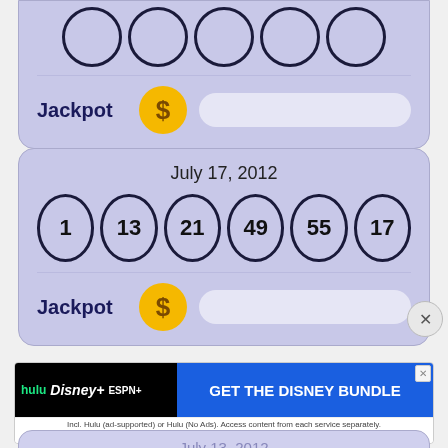[Figure (screenshot): Partial lottery card at top showing Jackpot row with dollar coin and empty bar]
[Figure (screenshot): Lottery draw card for July 17, 2012 showing balls: 1, 13, 21, 49, 55, 17 and Jackpot row]
[Figure (screenshot): Advertisement banner: hulu, Disney+, ESPN+ - GET THE DISNEY BUNDLE]
[Figure (screenshot): Partial lottery card at bottom showing July 13, 2012]